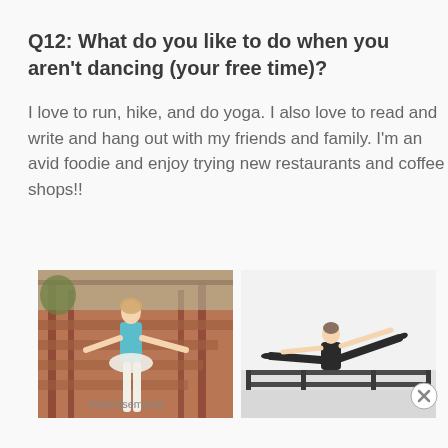Q12: What do you like to do when you aren't dancing (your free time)?
I love to run, hike, and do yoga. I also love to read and write and hang out with my friends and family. I'm an avid foodie and enjoy trying new restaurants and coffee shops!!
[Figure (photo): Young woman in a blue dance leotard and white skirt posing on red metal stairs outdoors]
[Figure (photo): Dancer in black leotard performing a horizontal split jump at a ballet barre in a studio]
Advertisements